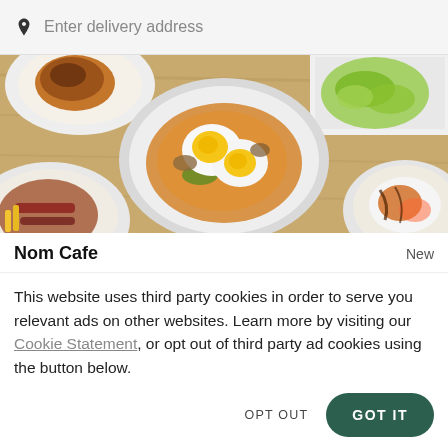Enter delivery address
[Figure (photo): Overhead view of restaurant food dishes on plates on a wooden table, including fried eggs, pancakes with bacon, and salad]
Nom Cafe
New
This website uses third party cookies in order to serve you relevant ads on other websites. Learn more by visiting our Cookie Statement, or opt out of third party ad cookies using the button below.
OPT OUT
GOT IT